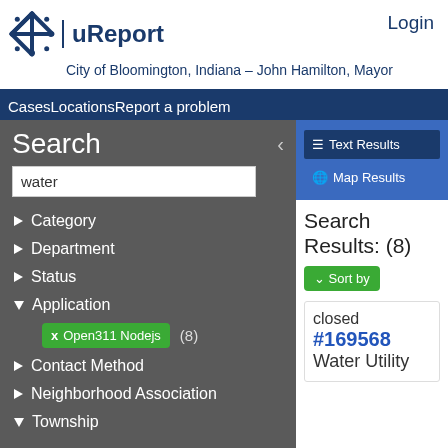uReport — City of Bloomington, Indiana – John Hamilton, Mayor — Login
CasesLocationsReport a problem
Search
water
Category
Department
Status
Application
Open311 Nodejs (8)
Contact Method
Neighborhood Association
Township
Text Results
Map Results
Search Results: (8)
Sort by
closed #169568 Water Utility